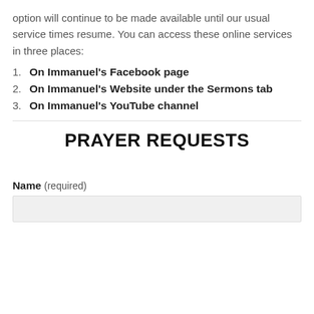option will continue to be made available until our usual service times resume. You can access these online services in three places:
On Immanuel's Facebook page
On Immanuel's Website under the Sermons tab
On Immanuel's YouTube channel
PRAYER REQUESTS
Name (required)